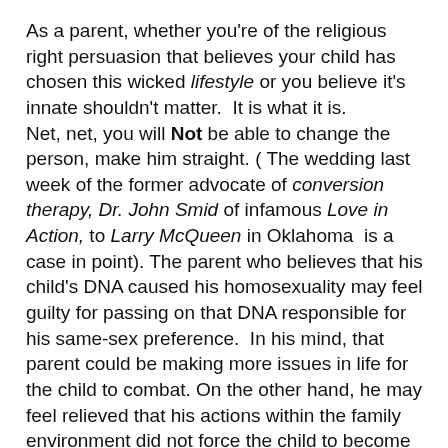As a parent, whether you're of the religious right persuasion that believes your child has chosen this wicked lifestyle or you believe it's innate shouldn't matter.  It is what it is.
Net, net, you will Not be able to change the person, make him straight. ( The wedding last week of the former advocate of conversion therapy, Dr. John Smid of infamous Love in Action, to Larry McQueen in Oklahoma  is a case in point). The parent who believes that his child's DNA caused his homosexuality may feel guilty for passing on that DNA responsible for his same-sex preference.  In his mind, that parent could be making more issues in life for the child to combat. On the other hand, he may feel relieved that his actions within the family environment did not force the child to become gay.
Never Less Than